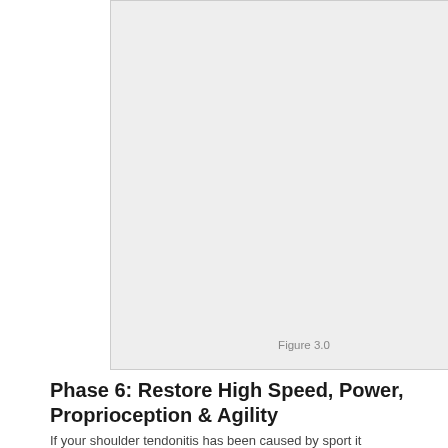[Figure (illustration): A large light gray rectangular figure placeholder labeled Figure 3.0, likely depicting a shoulder exercise or anatomy related to high speed, power, proprioception and agility rehabilitation.]
Figure 3.0
Phase 6: Restore High Speed, Power, Proprioception & Agility
If your shoulder tendonitis has been caused by sport it